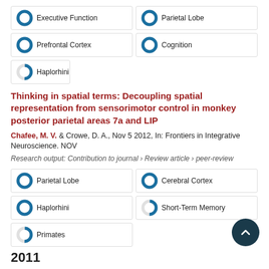100% Executive Function
100% Parietal Lobe
100% Prefrontal Cortex
100% Cognition
50% Haplorhini
Thinking in spatial terms: Decoupling spatial representation from sensorimotor control in monkey posterior parietal areas 7a and LIP
Chafee, M. V. & Crowe, D. A., Nov 5 2012, In: Frontiers in Integrative Neuroscience. NOV
Research output: Contribution to journal › Review article › peer-review
100% Parietal Lobe
100% Cerebral Cortex
100% Haplorhini
50% Short-Term Memory
50% Primates
2011